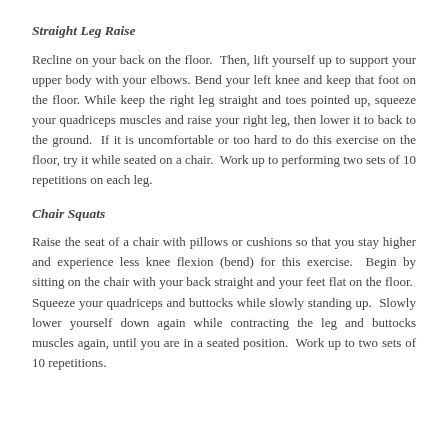Straight Leg Raise
Recline on your back on the floor.  Then, lift yourself up to support your upper body with your elbows. Bend your left knee and keep that foot on the floor. While keep the right leg straight and toes pointed up, squeeze your quadriceps muscles and raise your right leg, then lower it to back to the ground.  If it is uncomfortable or too hard to do this exercise on the floor, try it while seated on a chair.  Work up to performing two sets of 10 repetitions on each leg.
Chair Squats
Raise the seat of a chair with pillows or cushions so that you stay higher and experience less knee flexion (bend) for this exercise.  Begin by sitting on the chair with your back straight and your feet flat on the floor.  Squeeze your quadriceps and buttocks while slowly standing up.  Slowly lower yourself down again while contracting the leg and buttocks muscles again, until you are in a seated position.  Work up to two sets of 10 repetitions.